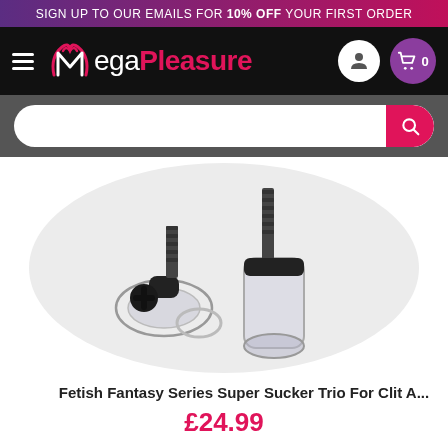SIGN UP TO OUR EMAILS FOR 10% OFF YOUR FIRST ORDER
[Figure (logo): MegaPleasure website header with hamburger menu, MegaPleasure logo, user account icon, and shopping cart icon showing 0 items]
[Figure (screenshot): Search bar with magnifying glass button on grey background]
[Figure (photo): Product photo of Fetish Fantasy Series Super Sucker Trio For Clit A... showing clear plastic suction cups with black fittings on white circular background]
Fetish Fantasy Series Super Sucker Trio For Clit A...
£24.99